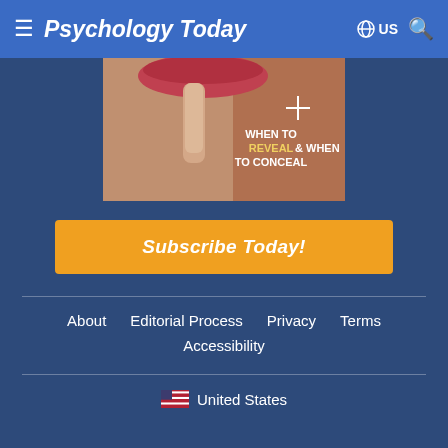Psychology Today  US
[Figure (photo): Magazine cover showing a person with finger over lips (shh gesture) with text 'WHEN TO REVEAL & WHEN TO CONCEAL']
Subscribe Today!
About   Editorial Process   Privacy   Terms   Accessibility
United States